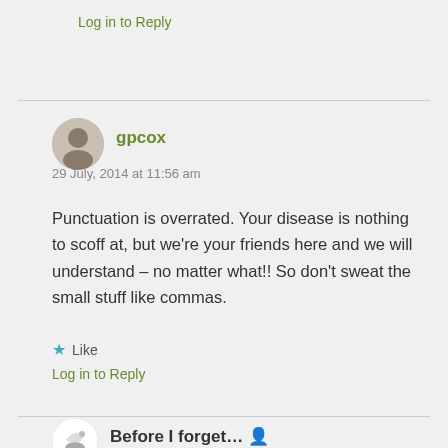Log in to Reply
gpcox
29 July, 2014 at 11:56 am
Punctuation is overrated. Your disease is nothing to scoff at, but we're your friends here and we will understand – no matter what!! So don't sweat the small stuff like commas.
★ Like
Log in to Reply
Before I forget… 👤